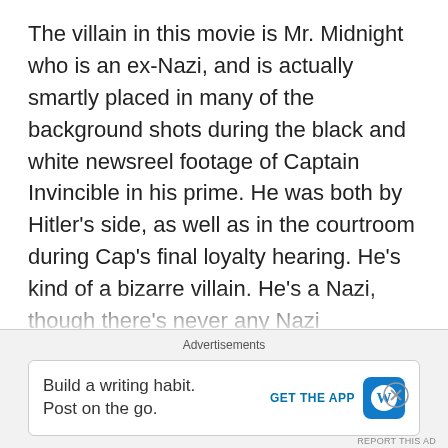The villain in this movie is Mr. Midnight who is an ex-Nazi, and is actually smartly placed in many of the background shots during the black and white newsreel footage of Captain Invincible in his prime. He was both by Hitler's side, as well as in the courtroom during Cap's final loyalty hearing. He's kind of a bizarre villain. He's a Nazi, though there's never any Nazi symbolism. Instead his evil plan consists of hypnotizing various ethnic groups to move into housing owned by his organization, and then blow them all up. He spends the entire movie in his lair, accompanied by the monkey/elf/Yoda thing I mentioned earlier, as well as various random animal pets, like a toad, a snake, and an obviously puppet vulture, which he later cooks and eats.
Advertisements
Build a writing habit. Post on the go. GET THE APP